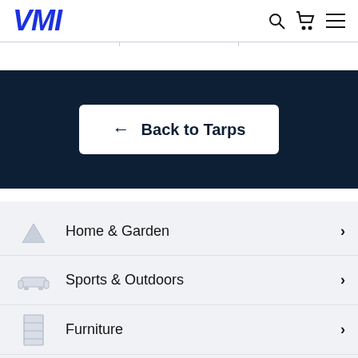VMI
[Figure (screenshot): Navigation bar divider with three columns]
[Figure (screenshot): Dark navy banner with a white 'Back to Tarps' button with left arrow]
Home & Garden
Sports & Outdoors
Furniture
Vehicles & Parts